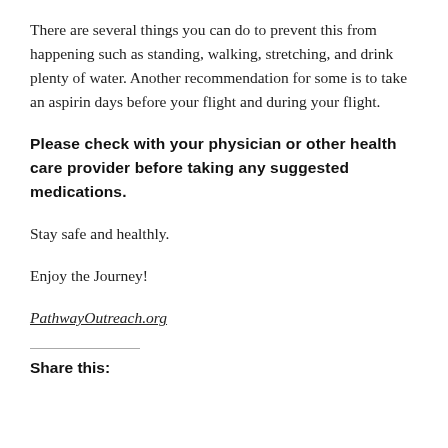There are several things you can do to prevent this from happening such as standing, walking, stretching, and drink plenty of water. Another recommendation for some is to take an aspirin days before your flight and during your flight.
Please check with your physician or other health care provider before taking any suggested medications.
Stay safe and healthly.
Enjoy the Journey!
PathwayOutreach.org
Share this: